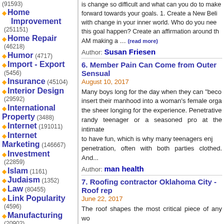(91593) Home Improvement (251151)
Home Repair (46218)
Humor (4717)
Import - Export (5456)
Insurance (45104)
Interior Design (29592)
International Property (3488)
Internet (191011)
Internet Marketing (146667)
Investment (22859)
Islam (1161)
Judaism (1352)
Law (80455)
Link Popularity (4596)
Manufacturing (20902)
Marketing (99277)
MLM (14140)
Motivation (18233)
Music (26000)
is change so difficult and what can you do to make forward towards your goals. 1. Create a New Beli with change in your inner world. Who do you nee this goal happen? Create an affirmation around th AM making a … (read more)
Author: Susan Friesen
6. Member Pain Can Come from Outer Sensual
August 10, 2017
Many boys long for the day when they can "beco insert their manhood into a woman's female orga the sheer longing for the experience. Penetrative randy teenager or a seasoned pro at the intimate to have fun, which is why many teenagers enj penetration, often with both parties clothed. And...
Author: man health
7. Roofing contractor Oklahoma City - Roof rep
June 22, 2017
The roof shapes the most critical piece of any wo changing climate conditions. The roof is dependab consequently proceeding with its push to play ou countenances of the climate, there are times whe frame. Repairing a roof isn't any errand that is sim